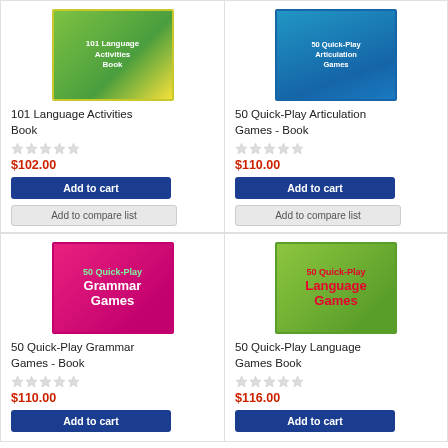[Figure (illustration): Book cover: 101 Language Activities Book, green and yellow gradient cover]
101 Language Activities Book
$102.00
Add to cart
Add to compare list
[Figure (illustration): Book cover: 50 Quick-Play Articulation Games - Book, blue cover with game pieces]
50 Quick-Play Articulation Games - Book
$110.00
Add to cart
Add to compare list
[Figure (illustration): Book cover: 50 Quick-Play Grammar Games - Book, pink/magenta cover]
50 Quick-Play Grammar Games - Book
$110.00
Add to cart
[Figure (illustration): Book cover: 50 Quick-Play Language Games Book, lime green cover]
50 Quick-Play Language Games Book
$116.00
Add to cart